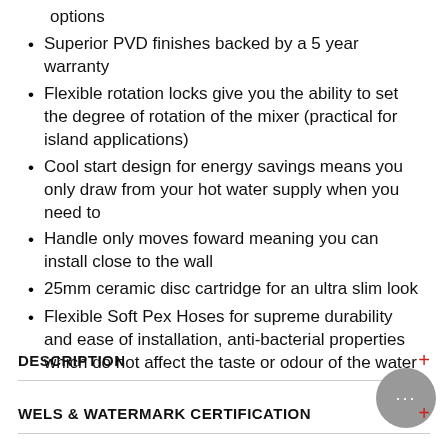options
Superior PVD finishes backed by a 5 year warranty
Flexible rotation locks give you the ability to set the degree of rotation of the mixer (practical for island applications)
Cool start design for energy savings means you only draw from your hot water supply when you need to
Handle only moves foward meaning you can install close to the wall
25mm ceramic disc cartridge for an ultra slim look
Flexible Soft Pex Hoses for supreme durability and ease of installation, anti-bacterial properties which do not affect the taste or odour of the water
DESCRIPTION
WELS & WATERMARK CERTIFICATION